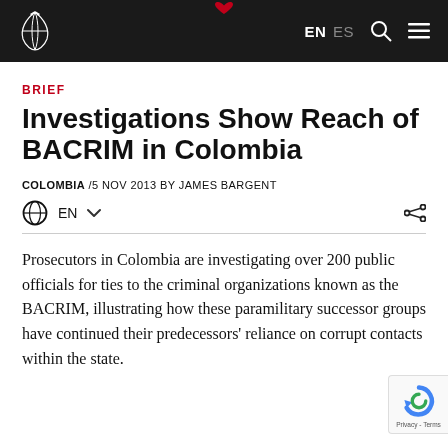EN ES
BRIEF
Investigations Show Reach of BACRIM in Colombia
COLOMBIA /5 NOV 2013 BY JAMES BARGENT
EN
Prosecutors in Colombia are investigating over 200 public officials for ties to the criminal organizations known as the BACRIM, illustrating how these paramilitary successor groups have continued their predecessors' reliance on corrupt contacts within the state.